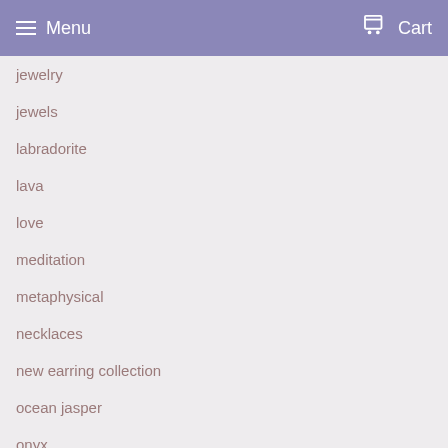Menu   Cart
jewelry
jewels
labradorite
lava
love
meditation
metaphysical
necklaces
new earring collection
ocean jasper
onyx
orange
pendants
pink
pink amethyst
pink amethyst heart chakra